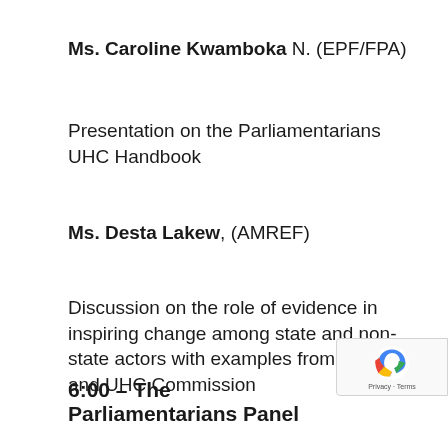Ms. Caroline Kwamboka N. (EPF/FPA)
Presentation on the Parliamentarians UHC Handbook
Ms. Desta Lakew, (AMREF)
Discussion on the role of evidence in inspiring change among state and non-state actors with examples from AHAIC and UHC Commission
6:00 – The Parliamentarians Panel